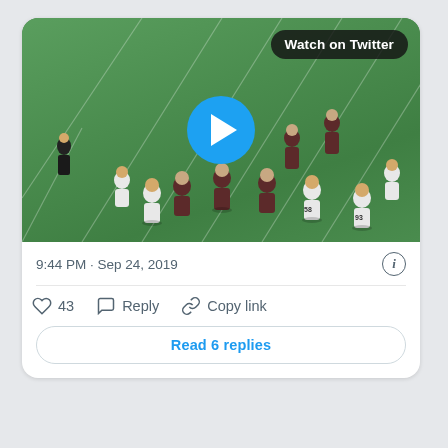[Figure (screenshot): Twitter/X embedded post card showing a football game video thumbnail with players on a green field, a blue play button in the center, and a 'Watch on Twitter' badge in the top-right corner. Below the video: timestamp '9:44 PM · Sep 24, 2019', an info icon, like count '43', Reply button, Copy link button, and a 'Read 6 replies' button.]